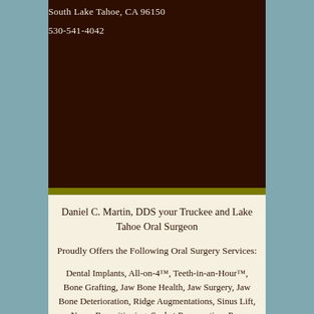South Lake Tahoe, CA 96150
530-541-4042
Daniel C. Martin, DDS your Truckee and Lake Tahoe Oral Surgeon
Proudly Offers the Following Oral Surgery Services:
Dental Implants, All-on-4™, Teeth-in-an-Hour™, Bone Grafting, Jaw Bone Health, Jaw Surgery, Jaw Bone Deterioration, Ridge Augmentations, Sinus Lift, Nerve Repositioning, Socket Preservation, Pre-prosthetic Surgery and treatment of Facial Trauma, and Oral Pathology.
Serving the following California and Nevada communities: Truckee, South Lake Tahoe, Reno, Gardnerville, Minden, Carson City, Tahoe City, Kings Beach, Incline Village, Zephyr